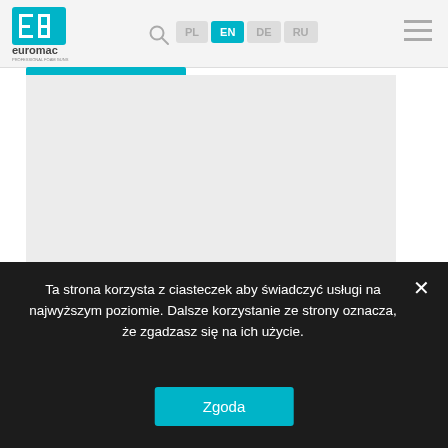[Figure (logo): Euromac Professional Foam Guns logo — cyan 'EB' icon with 'euromac' text below and 'PROFESSIONAL FOAM GUNS' tagline]
Search | PL | EN | DE | RU | menu
[Figure (screenshot): Gray placeholder content area below blue tab bar]
Ta strona korzysta z ciasteczek aby świadczyć usługi na najwyższym poziomie. Dalsze korzystanie ze strony oznacza, że zgadzasz się na ich użycie.
Zgoda